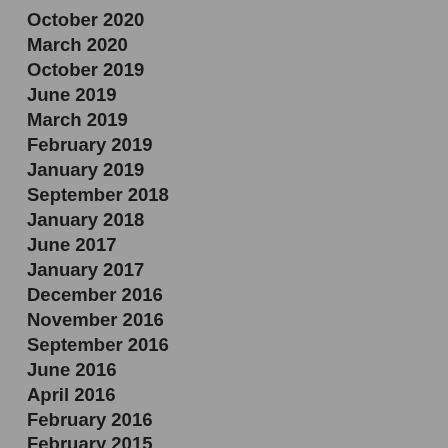October 2020
March 2020
October 2019
June 2019
March 2019
February 2019
January 2019
September 2018
January 2018
June 2017
January 2017
December 2016
November 2016
September 2016
June 2016
April 2016
February 2016
February 2015
December 2014